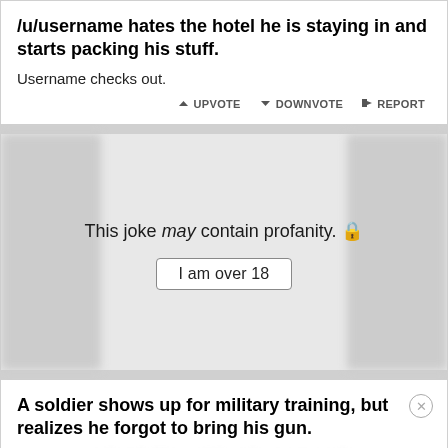/u/username hates the hotel he is staying in and starts packing his stuff.
Username checks out.
UPVOTE  DOWNVOTE  REPORT
This joke may contain profanity. 🔒
I am over 18
A soldier shows up for military training, but realizes he forgot to bring his gun.
The sergeant hands him a stick and gestures to the traini...
[Figure (screenshot): Disney Bundle advertisement: hulu Disney+ ESPN+ GET THE DISNEY BUNDLE. Incl. Hulu (ad-supported) or Hulu (No Ads). Access content from each service separately. ©2021 Disney and its related entities]
"You'll have to use this, soldier. If you need to shoot someone, just aim your stick at them and say...